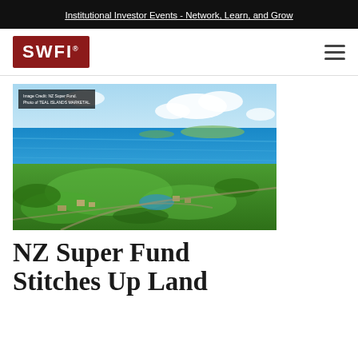Institutional Investor Events - Network, Learn, and Grow
[Figure (logo): SWFI logo — white text on dark red background, with registered trademark symbol]
[Figure (photo): Aerial photograph of a coastal New Zealand landscape with green golf course, residential buildings, and blue ocean in the background. Image Credit: NZ Super Fund. Photo of TEAL ISLANDS MARKETAL.]
NZ Super Fund Stitches Up Land